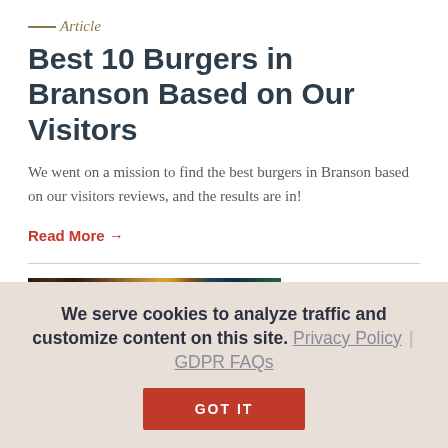Article
Best 10 Burgers in Branson Based on Our Visitors
We went on a mission to find the best burgers in Branson based on our visitors reviews, and the results are in!
Read More →
[Figure (photo): Horizontal photo strip showing Christmas decorations and colored lights]
We serve cookies to analyze traffic and customize content on this site. Privacy Policy | GDPR FAQs
GOT IT